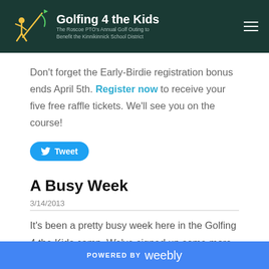Golfing 4 the Kids — The Roscoe PTO's Annual Golf Outing to Benefit the Kinnikinnick School District
Don't forget the Early-Birdie registration bonus ends April 5th. Register now to receive your five free raffle tickets. We'll see you on the course!
[Figure (other): Tweet button — blue rounded rectangle with Twitter bird icon and text 'Tweet']
A Busy Week
3/14/2013
It's been a pretty busy week here in the Golfing 4 the Kids camp. We've signed up some more sponsors and added an
POWERED BY weebly